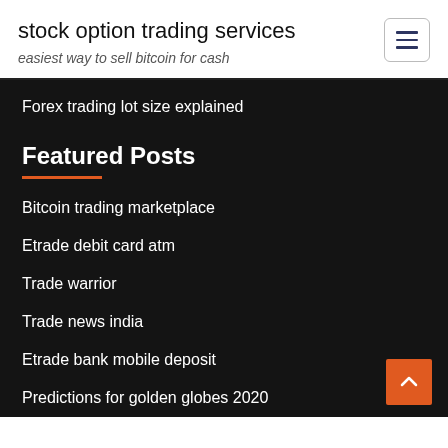stock option trading services
easiest way to sell bitcoin for cash
Forex trading lot size explained
Featured Posts
Bitcoin trading marketplace
Etrade debit card atm
Trade warrior
Trade news india
Etrade bank mobile deposit
Predictions for golden globes 2020